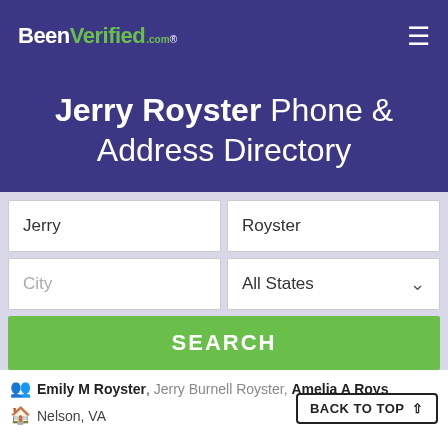BeenVerified.com
Jerry Royster Phone & Address Directory
Jerry | Royster | City | All States | SEARCH
Emily M Royster, Jerry Burnell Royster, Amelia A Roys...
Nelson, VA
BACK TO TOP ↑